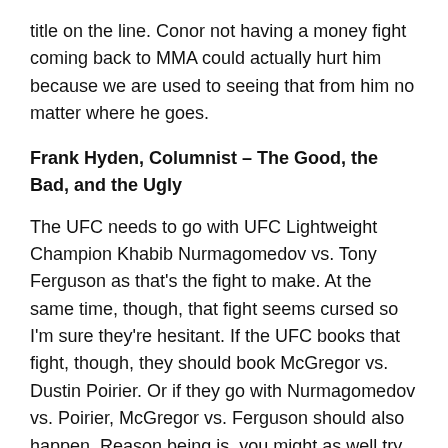title on the line. Conor not having a money fight coming back to MMA could actually hurt him because we are used to seeing that from him no matter where he goes.
Frank Hyden, Columnist – The Good, the Bad, and the Ugly
The UFC needs to go with UFC Lightweight Champion Khabib Nurmagomedov vs. Tony Ferguson as that's the fight to make. At the same time, though, that fight seems cursed so I'm sure they're hesitant. If the UFC books that fight, though, they should book McGregor vs. Dustin Poirier. Or if they go with Nurmagomedov vs. Poirier, McGregor vs. Ferguson should also happen. Reason being is, you might as well try to get what you can from McGregor before he either gets himself thrown in prison or moves on to other ventures or is forgotten about by the casual viewers. The last thing people saw of McGregor in the cage was of him getting dominated by Nurmagomedov.
The second half of the text paragraph (truncated at bottom of page)